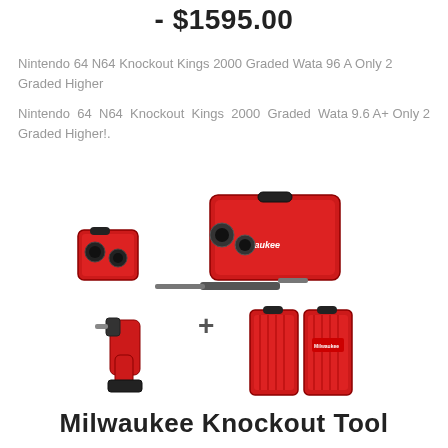- $1595.00
Nintendo 64 N64 Knockout Kings 2000 Graded Wata 96 A Only 2 Graded Higher
Nintendo 64 N64 Knockout Kings 2000 Graded Wata 9.6 A+ Only 2 Graded Higher!.
[Figure (photo): Milwaukee Knockout Tool set showing a red tool case with knockout punch tools, a cordless drill, and a red accessory storage case, with a plus sign between the groups]
Milwaukee Knockout Tool